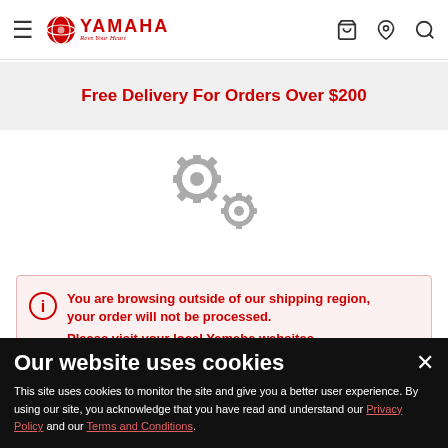[Figure (logo): Yamaha logo with globe icon and 'Revs Your Heart' tagline]
Free Delivery For Orders Over $200
[Figure (illustration): Two interlocking grey gear icons indicating loading state]
You are browsing outside of our shipping region, your order will not be processed. Please visit your local Yamaha websites
Our website uses cookies
This site uses cookies to monitor the site and give you a better user experience. By using our site, you acknowledge that you have read and understand our Privacy Policy and our Terms and Conditions.